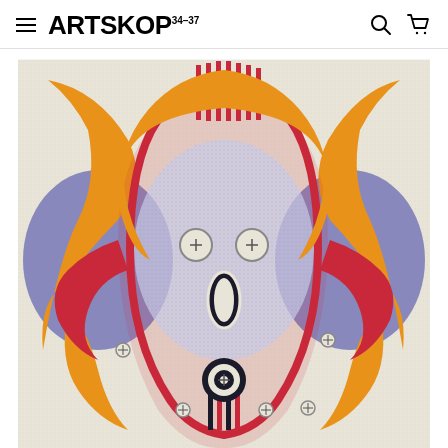ARTSKOP 34-37
[Figure (illustration): A colorful textile artwork or tapestry featuring an abstract figure rendered in embroidery or fiber art. The figure has a face-like form with button eyes, an open oval mouth, and is surrounded by swirling patterns in orange, blue/purple, red/crimson, and cream/white. The style is reminiscent of African or indigenous art forms. The background is a light cream stippled texture.]